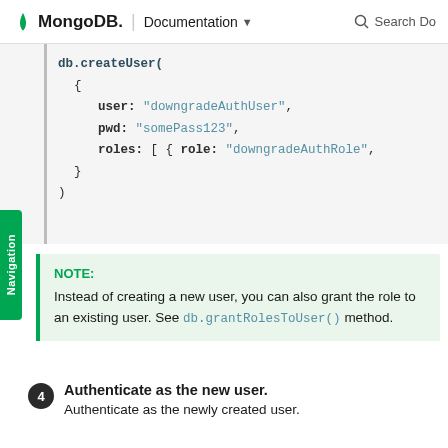MongoDB. | Documentation ▼  🔍 Search Do
[Figure (screenshot): Code block showing db.createUser call with user: "downgradeAuthUser", pwd: "somePass123", roles: [ { role: "downgradeAuthRole",  } )]
NOTE:
Instead of creating a new user, you can also grant the role to an existing user. See db.grantRolesToUser() method.
4. Authenticate as the new user. Authenticate as the newly created user.